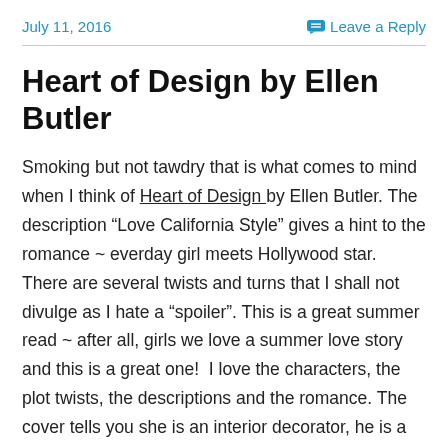July 11, 2016   Leave a Reply
Heart of Design by Ellen Butler
Smoking but not tawdry that is what comes to mind when I think of Heart of Design by Ellen Butler. The description “Love California Style” gives a hint to the romance ~ everday girl meets Hollywood star. There are several twists and turns that I shall not divulge as I hate a “spoiler”. This is a great summer read ~ after all, girls we love a summer love story and this is a great one!  I love the characters, the plot twists, the descriptions and the romance. The cover tells you she is an interior decorator, he is a Hollywood star. To know more you have to read this wonderful romance over! This book is well written,